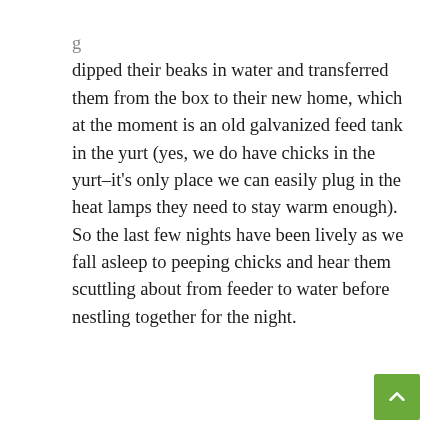dipped their beaks in water and transferred them from the box to their new home, which at the moment is an old galvanized feed tank in the yurt (yes, we do have chicks in the yurt–it's only place we can easily plug in the heat lamps they need to stay warm enough).  So the last few nights have been lively as we fall asleep to peeping chicks and hear them scuttling about from feeder to water before nestling together for the night.